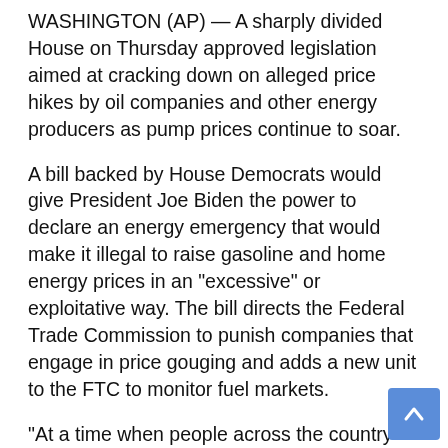WASHINGTON (AP) — A sharply divided House on Thursday approved legislation aimed at cracking down on alleged price hikes by oil companies and other energy producers as pump prices continue to soar.
A bill backed by House Democrats would give President Joe Biden the power to declare an energy emergency that would make it illegal to raise gasoline and home energy prices in an "excessive" or exploitative way. The bill directs the Federal Trade Commission to punish companies that engage in price gouging and adds a new unit to the FTC to monitor fuel markets.
“At a time when people across the country are feeling the pinch at the gas pump, Congress must do everything in its power to reduce costs for American families,” said U.S. Representative Kim Schrier, D -Wash., who co-sponsored the bill.
She called it “maddening” that the gasoline price spikes were “occurring at the same time as gas and oil companies were making record profits and taking advantage of international